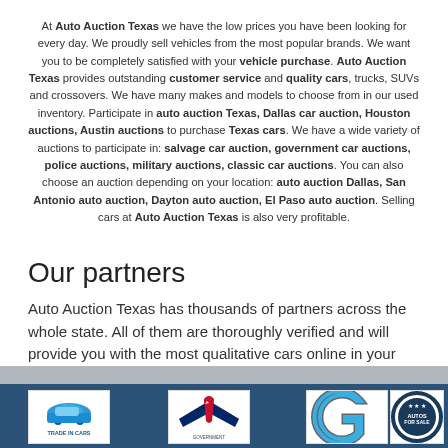At Auto Auction Texas we have the low prices you have been looking for every day. We proudly sell vehicles from the most popular brands. We want you to be completely satisfied with your vehicle purchase. Auto Auction Texas provides outstanding customer service and quality cars, trucks, SUVs and crossovers. We have many makes and models to choose from in our used inventory. Participate in auto auction Texas, Dallas car auction, Houston auctions, Austin auctions to purchase Texas cars. We have a wide variety of auctions to participate in: salvage car auction, government car auctions, police auctions, military auctions, classic car auctions. You can also choose an auction depending on your location: auto auction Dallas, San Antonio auto auction, Dayton auto auction, El Paso auto auction. Selling cars at Auto Auction Texas is also very profitable.
Our partners
Auto Auction Texas has thousands of partners across the whole state. All of them are thoroughly verified and will provide you with the most qualitative cars online in your area.
[Figure (logo): Trade In Cars logo]
[Figure (logo): Eagle/bird logo with red and blue wings]
[Figure (logo): Large letter G logo in grey/teal]
[Figure (logo): Autos For Sale circular logo]